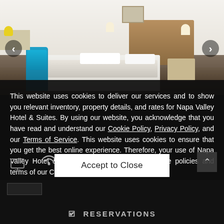[Figure (photo): Hotel room interior photo showing a neatly made bed with white bedding, a wooden headboard, a teal/turquoise tufted chair, and modern décor. Navigation arrows on left and right sides of the image.]
This website uses cookies to deliver our services and to show you relevant inventory, property details, and rates for Napa Valley Hotel & Suites. By using our website, you acknowledge that you have read and understand our Cookie Policy, Privacy Policy, and our Terms of Service. This website uses cookies to ensure that you get the best online experience. Therefore, your use of Napa Valley Hotel & Suites's website is subject to the policies and terms of our Cookie Policy.
Accept to Close
RESERVATIONS